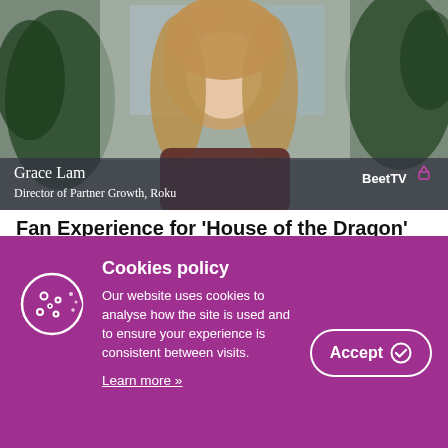[Figure (photo): Video thumbnail showing a woman with long blonde hair sitting in front of indoor plants. Lower third overlay reads 'Grace Lam, Director of Partner Growth, Roku' with BeetTV logo in bottom right.]
Fan Experience for ‘House of the Dragon’ Marks Stronger Ties with CTV Partners: Roku’s Grace Lam
Roku helped viewers celebrate the premiere of HBO Max’s much-anticipated “House of the Dragon” with an exclusive fan
Cookies policy
Our website uses cookies to analyse how the site is used and to ensure your experience is consistent between visits.
Learn more »
Accept